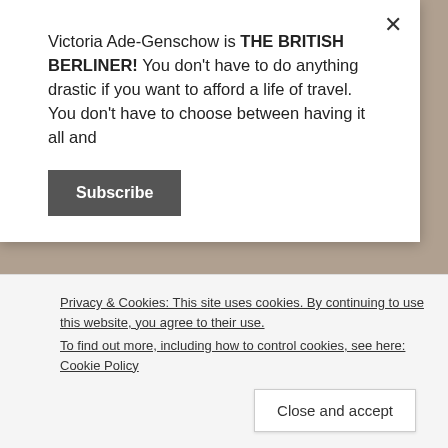Victoria Ade-Genschow is THE BRITISH BERLINER! You don't have to do anything drastic if you want to afford a life of travel. You don't have to choose between having it all and
Subscribe
can get yours here, at World Nomads!
Please note that there are now affiliate links (for the very first time) connected to this post. Please consider using the links, because every time some sort of accommodation or travel insurance is booked via my links, I get a little percentage, but at
Privacy & Cookies: This site uses cookies. By continuing to use this website, you agree to their use.
To find out more, including how to control cookies, see here: Cookie Policy
Close and accept